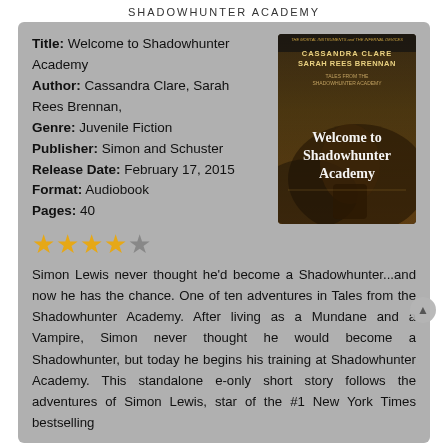SHADOWHUNTER ACADEMY
Title: Welcome to Shadowhunter Academy
Author: Cassandra Clare, Sarah Rees Brennan,
Genre: Juvenile Fiction
Publisher: Simon and Schuster
Release Date: February 17, 2015
Format: Audiobook
Pages: 40
[Figure (illustration): Book cover of 'Welcome to Shadowhunter Academy' by Cassandra Clare and Sarah Rees Brennan, part of Tales from the Shadowhunter Academy series. Dark, moody cover with golden/brown tones.]
★★★★☆
Simon Lewis never thought he'd become a Shadowhunter...and now he has the chance. One of ten adventures in Tales from the Shadowhunter Academy. After living as a Mundane and a Vampire, Simon never thought he would become a Shadowhunter, but today he begins his training at Shadowhunter Academy. This standalone e-only short story follows the adventures of Simon Lewis, star of the #1 New York Times bestselling